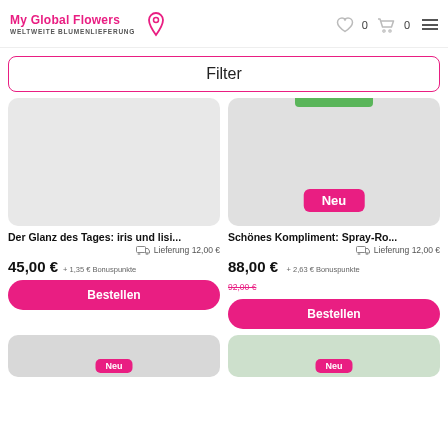My Global Flowers WELTWEITE BLUMENLIEFERUNG
Filter
[Figure (photo): Product image placeholder (light grey box) for 'Der Glanz des Tages: iris und lisi...']
[Figure (photo): Product image placeholder (light grey box) with 'Neu' badge and green bar at top for 'Schönes Kompliment: Spray-Ro...']
Der Glanz des Tages: iris und lisi...
Lieferung 12,00 €
45,00 € + 1,35 € Bonuspunkte
Bestellen
Schönes Kompliment: Spray-Ro...
Lieferung 12,00 €
88,00 € + 2,63 € Bonuspunkte 92,00 €
Bestellen
[Figure (photo): Bottom thumbnail left with 'Neu' badge]
[Figure (photo): Bottom thumbnail right with 'Neu' badge and flower photo]